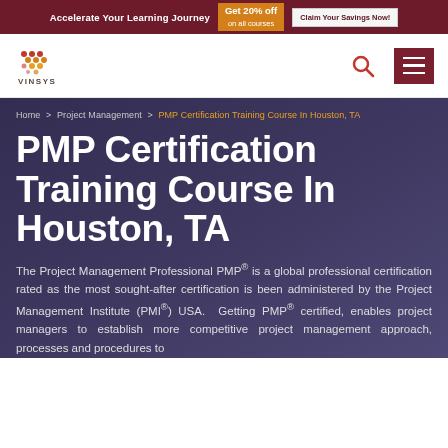Accelerate Your Learning Journey | Get 20% off on all courses | Claim Your Savings Now!
[Figure (logo): Vinsys logo with orange dot grid pattern and VINSYS text below]
Home > Project Management > PMP Certification Training Course In Houston, TA
PMP Certification Training Course In Houston, TA
The Project Management Professional PMP® is a global professional certification rated as the most sought-after certification is been administered by the Project Management Institute (PMI®) USA. Getting PMP® certified, enables project managers to establish more competitive project management approach, processes and procedures to